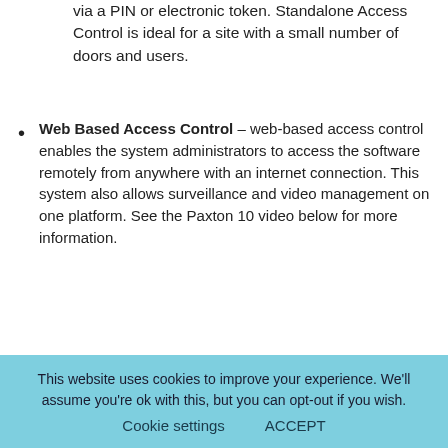via a PIN or electronic token. Standalone Access Control is ideal for a site with a small number of doors and users.
Web Based Access Control – web-based access control enables the system administrators to access the software remotely from anywhere with an internet connection. This system also allows surveillance and video management on one platform. See the Paxton 10 video below for more information.
[Figure (screenshot): YouTube-style video thumbnail showing Paxton logo circle with play button, title 'Paxton10 – access control a...' and a three-dot menu icon on a dark gradient background.]
This website uses cookies to improve your experience. We'll assume you're ok with this, but you can opt-out if you wish. Cookie settings   ACCEPT